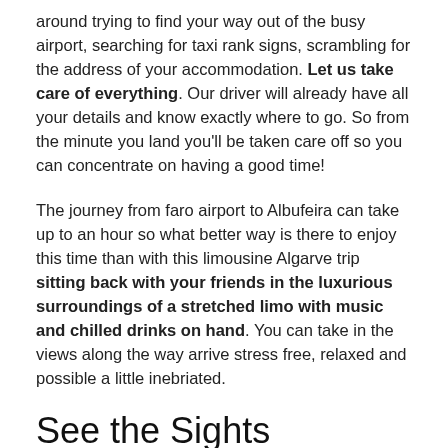around trying to find your way out of the busy airport, searching for taxi rank signs, scrambling for the address of your accommodation. Let us take care of everything. Our driver will already have all your details and know exactly where to go. So from the minute you land you'll be taken care off so you can concentrate on having a good time!
The journey from faro airport to Albufeira can take up to an hour so what better way is there to enjoy this time than with this limousine Algarve trip sitting back with your friends in the luxurious surroundings of a stretched limo with music and chilled drinks on hand. You can take in the views along the way arrive stress free, relaxed and possible a little inebriated.
See the Sights
Once you are nicely settled in to your accommodation, had a dip in the pool, grabbed a bite to eat and washed it down with